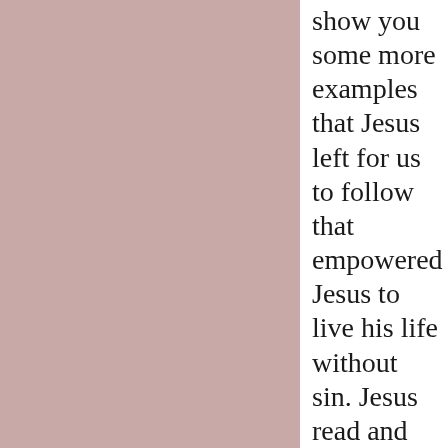show you some more examples that Jesus left for us to follow that empowered Jesus to live his life without sin. Jesus read and obeyed the Scriptures. And we are